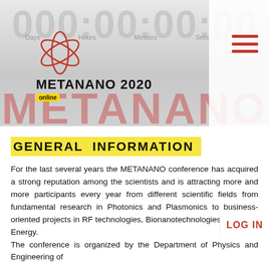[Figure (logo): METANANO 2020 conference logo with orbital/sphere icon and 'online' badge, plus hamburger menu icon in red on white panel. Countdown timer digits watermark across top of banner. Red METANANO watermark text across lower banner.]
GENERAL INFORMATION
For the last several years the METANANO conference has acquired a strong reputation among the scientists and is attracting more and more participants every year from different scientific fields from fundamental research in Photonics and Plasmonics to business-oriented projects in RF technologies, Bionanotechnologies and Solar Energy.
The conference is organized by the Department of Physics and Engineering of